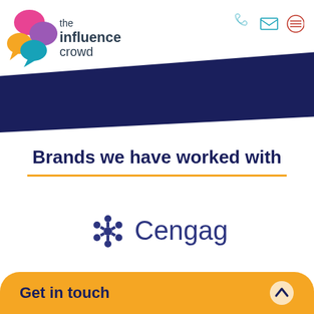[Figure (logo): The Influence Crowd logo with colorful speech bubble icons (pink, orange, purple, teal) and text 'the influence crowd']
[Figure (illustration): Navy blue diagonal banner across the top header area]
Brands we have worked with
[Figure (logo): Cengage logo with asterisk-star icon in navy/purple and the word 'Cengage' in dark blue/navy font]
Get in touch